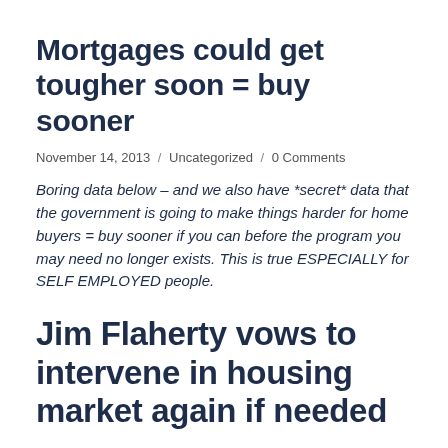Mortgages could get tougher soon = buy sooner
November 14, 2013  /  Uncategorized  /  0 Comments
Boring data below – and we also have *secret* data that the government is going to make things harder for home buyers = buy sooner if you can before the program you may need no longer exists. This is true ESPECIALLY for SELF EMPLOYED people.
Jim Flaherty vows to intervene in housing market again if needed